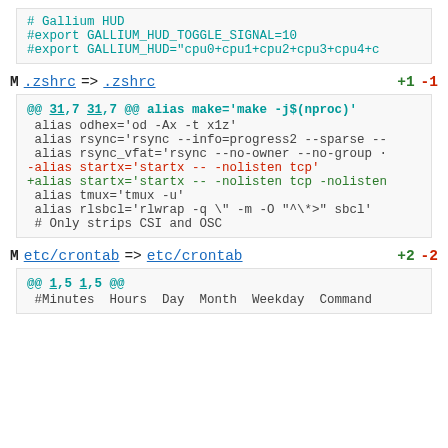# Gallium HUD
#export GALLIUM_HUD_TOGGLE_SIGNAL=10
#export GALLIUM_HUD="cpu0+cpu1+cpu2+cpu3+cpu4+c
M .zshrc => .zshrc +1 -1
@@ 31,7 31,7 @@ alias make='make -j$(nproc)'
 alias odhex='od -Ax -t x1z'
 alias rsync='rsync --info=progress2 --sparse --
 alias rsync_vfat='rsync --no-owner --no-group ·
-alias startx='startx -- -nolisten tcp'
+alias startx='startx -- -nolisten tcp -nolisten
 alias tmux='tmux -u'
 alias rlsbcl='rlwrap -q \" -m -O "^\*>" sbcl'
 # Only strips CSI and OSC
M etc/crontab => etc/crontab +2 -2
@@ 1,5 1,5 @@
#Minutes Hours Day Month Weekday Command